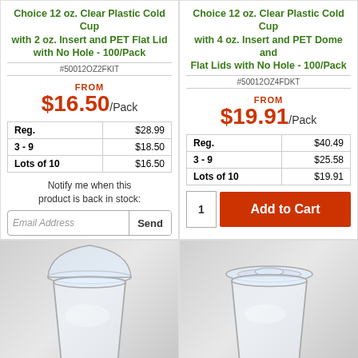Choice 12 oz. Clear Plastic Cold Cup with 2 oz. Insert and PET Flat Lid with No Hole - 100/Pack
#50012OZ2FKIT
FROM $16.50/Pack
| Qty | Price |
| --- | --- |
| Reg. | $28.99 |
| 3 - 9 | $18.50 |
| Lots of 10 | $16.50 |
Notify me when this product is back in stock:
Choice 12 oz. Clear Plastic Cold Cup with 4 oz. Insert and PET Dome and Flat Lids with No Hole - 100/Pack
#50012OZ4FDKT
FROM $19.91/Pack
| Qty | Price |
| --- | --- |
| Reg. | $40.49 |
| 3 - 9 | $25.58 |
| Lots of 10 | $19.91 |
1 Add to Cart
[Figure (photo): Clear plastic cold cup with dome lid]
[Figure (photo): Clear plastic cold cup with flat lid]